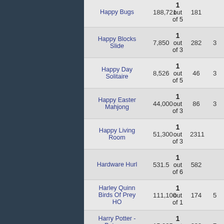| Game Name | Score | Rating | Count | ? |
| --- | --- | --- | --- | --- |
| Happy Bugs | 188,721 | 1 out of 5 | 181 |  |
| Happy Blocks Slide | 7,850 | 1 out of 3 | 282 | 3 |
| Happy Day Solitaire | 8,526 | 1 out of 5 | 46 | 3 |
| Happy Easter Mahjong | 44,000 | 1 out of 3 | 86 | 3 |
| Happy Living Room | 51,300 | 1 out of 3 | 2311 |  |
| Hardware Hurl | 531.5 | 1 out of 6 | 582 |  |
| Harley Quinn Birds Of Prey HO | 111,100 | 1 out of 1 | 174 | 5 |
| Harry Potter - Patronus Charm | 15,035 | 1 out of 2 | 239 | 7 |
| Harry Potter Ghost Hunter | 2,490 | 1 out of 4 | 200 | 7 |
| Harry Potter Mahjong | 678 | 1 out of 7 | 760 | 3 |
| Hate That Frog - German, Bootleg | 9,309 | 1 out of 5 | 295 | 3 |